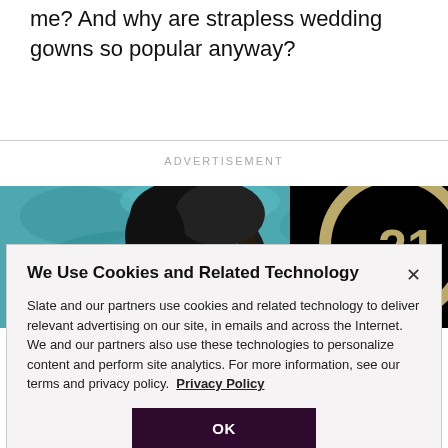me? And why are strapless wedding gowns so popular anyway?
ADVERTISEMENT
[Figure (photo): Advertisement image showing a person with dark curly hair against a teal/blue leafy background, with a black panel on the right showing a stylized '21' in gold.]
We Use Cookies and Related Technology
Slate and our partners use cookies and related technology to deliver relevant advertising on our site, in emails and across the Internet. We and our partners also use these technologies to personalize content and perform site analytics. For more information, see our terms and privacy policy.  Privacy Policy
OK